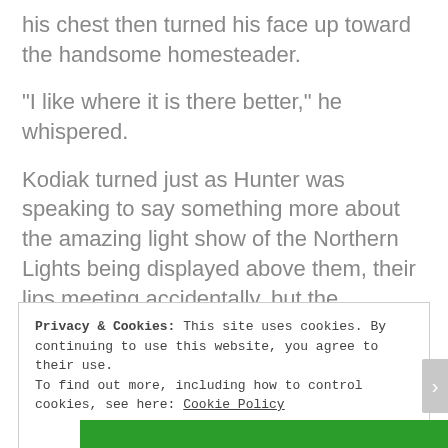his chest then turned his face up toward the handsome homesteader.
“I like where it is there better,” he whispered.
Kodiak turned just as Hunter was speaking to say something more about the amazing light show of the Northern Lights being displayed above them, their lips meeting accidentally, but the resulting kiss was far more than just an un planned moment.
Privacy & Cookies: This site uses cookies. By continuing to use this website, you agree to their use.
To find out more, including how to control cookies, see here: Cookie Policy
Close and accept